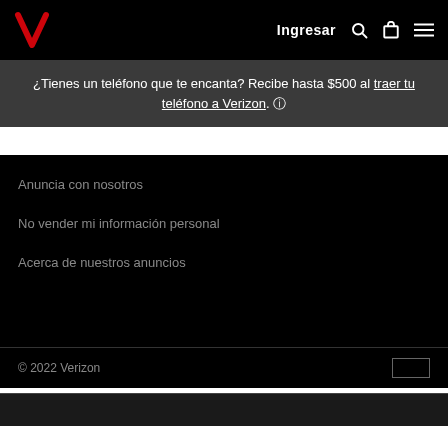Ingresar
¿Tienes un teléfono que te encanta? Recibe hasta $500 al traer tu teléfono a Verizon. ⓘ
Anuncia con nosotros
No vender mi información personal
Acerca de nuestros anuncios
© 2022 Verizon